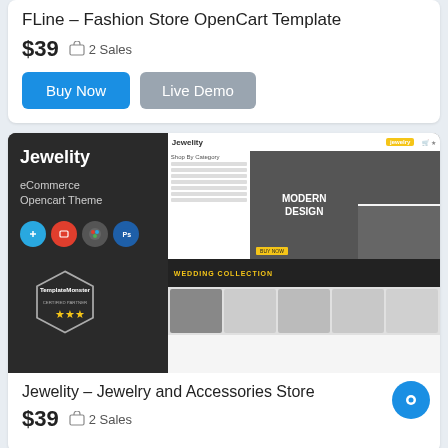FLine – Fashion Store OpenCart Template
$39  🛍 2 Sales
Buy Now  Live Demo
[Figure (screenshot): Jewelity eCommerce Opencart Theme product screenshot showing jewelry store template with dark left panel and browser mockup on right]
Jewelity – Jewelry and Accessories Store
$39  🛍 2 Sales